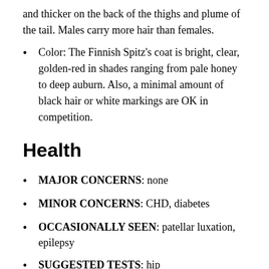and thicker on the back of the thighs and plume of the tail. Males carry more hair than females.
Color: The Finnish Spitz's coat is bright, clear, golden-red in shades ranging from pale honey to deep auburn. Also, a minimal amount of black hair or white markings are OK in competition.
Health
MAJOR CONCERNS: none
MINOR CONCERNS: CHD, diabetes
OCCASIONALLY SEEN: patellar luxation, epilepsy
SUGGESTED TESTS: hip
LIFE SPAN: 12-14 years
WEIGHT: male: 31-36 pounds; female: 23-29 pounds
HEIGHT: male: 17.5-20 inches; female: 15.5-18 inches